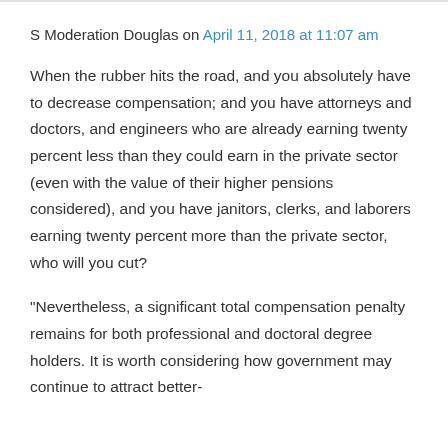S Moderation Douglas on April 11, 2018 at 11:07 am
When the rubber hits the road, and you absolutely have to decrease compensation; and you have attorneys and doctors, and engineers who are already earning twenty percent less than they could earn in the private sector (even with the value of their higher pensions considered), and you have janitors, clerks, and laborers earning twenty percent more than the private sector, who will you cut?
“Nevertheless, a significant total compensation penalty remains for both professional and doctoral degree holders. It is worth considering how government may continue to attract better-